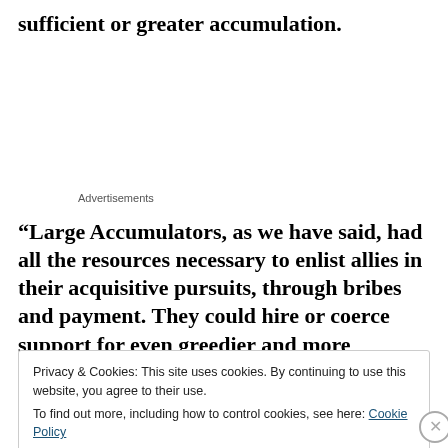sufficient or greater accumulation.
Advertisements
“Large Accumulators, as we have said, had all the resources necessary to enlist allies in their acquisitive pursuits, through bribes and payment. They could hire or coerce support for even greedier and more
Privacy & Cookies: This site uses cookies. By continuing to use this website, you agree to their use.
To find out more, including how to control cookies, see here: Cookie Policy
Close and accept